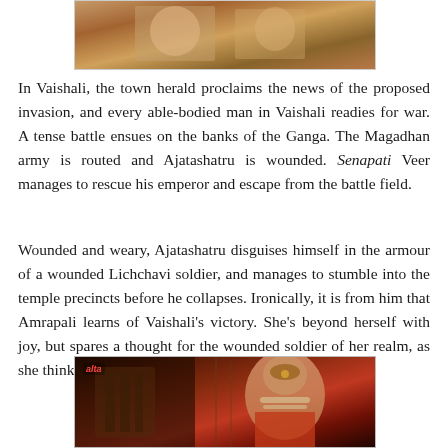[Figure (photo): A still from a film showing figures in traditional Indian attire, cropped at top of page]
In Vaishali, the town herald proclaims the news of the proposed invasion, and every able-bodied man in Vaishali readies for war. A tense battle ensues on the banks of the Ganga. The Magadhan army is routed and Ajatashatru is wounded. Senapati Veer manages to rescue his emperor and escape from the battle field.
Wounded and weary, Ajatashatru disguises himself in the armour of a wounded Lichchavi soldier, and manages to stumble into the temple precincts before he collapses. Ironically, it is from him that Amrapali learns of Vaishali's victory. She's beyond herself with joy, but spares a thought for the wounded soldier of her realm, as she thinks him.
[Figure (photo): A film still showing a woman in traditional Indian costume and jewelry, in a dimly lit scene]